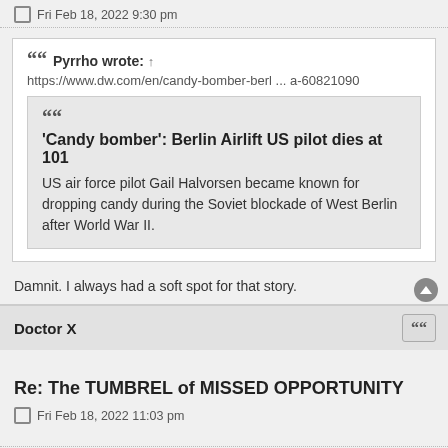Fri Feb 18, 2022 9:30 pm
Pyrrho wrote: ↑
https://www.dw.com/en/candy-bomber-berl ... a-60821090
'Candy bomber': Berlin Airlift US pilot dies at 101
US air force pilot Gail Halvorsen became known for dropping candy during the Soviet blockade of West Berlin after World War II.
Damnit. I always had a soft spot for that story.
Doctor X
Re: The TUMBREL of MISSED OPPORTUNITY
Fri Feb 18, 2022 11:03 pm